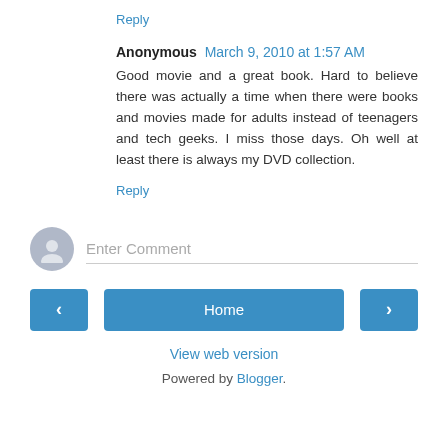Reply
Anonymous  March 9, 2010 at 1:57 AM
Good movie and a great book. Hard to believe there was actually a time when there were books and movies made for adults instead of teenagers and tech geeks. I miss those days. Oh well at least there is always my DVD collection.
Reply
Enter Comment
Home
View web version
Powered by Blogger.